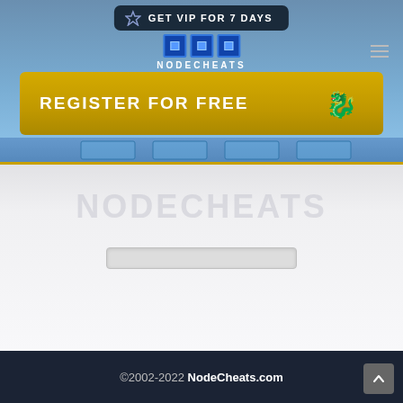[Figure (screenshot): NodeCheats website header with VIP banner, logo, hamburger menu, and blue gradient background]
REGISTER FOR FREE
[Figure (illustration): Watermark text NODECHEATS in light gray on white/light gray background with a search bar below it]
©2002-2022 NodeCheats.com